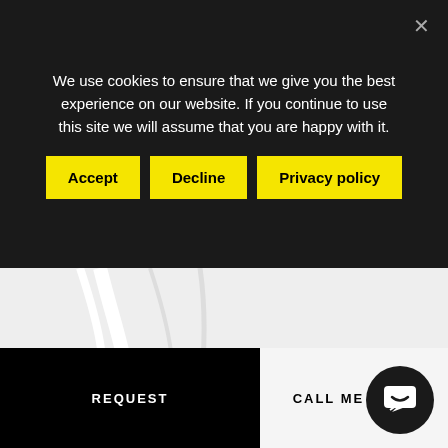We use cookies to ensure that we give you the best experience on our website. If you continue to use this site we will assume that you are happy with it.
[Figure (screenshot): Cookie consent banner with three yellow buttons: Accept, Decline, Privacy policy, on black background]
[Figure (map): Grayscale map of a region in Greece showing road networks and a red location marker. Labels include partial Greek text: Ζο, Ρ:, Εθνικό Π, Πίνδο]
REQUEST
CALL ME BACK